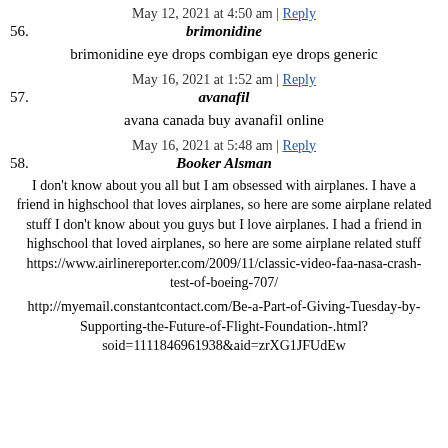56. brimonidine — May 12, 2021 at 4:50 am | Reply
brimonidine eye drops combigan eye drops generic
57. avanafil — May 16, 2021 at 1:52 am | Reply
avana canada buy avanafil online
58. Booker Alsman — May 16, 2021 at 5:48 am | Reply
I don't know about you all but I am obsessed with airplanes. I have a friend in highschool that loves airplanes, so here are some airplane related stuff I don't know about you guys but I love airplanes. I had a friend in highschool that loved airplanes, so here are some airplane related stuff https://www.airlinereporter.com/2009/11/classic-video-faa-nasa-crash-test-of-boeing-707/
http://myemail.constantcontact.com/Be-a-Part-of-Giving-Tuesday-by-Supporting-the-Future-of-Flight-Foundation-.html?soid=1111846961938&aid=zrXG1JFUdEw